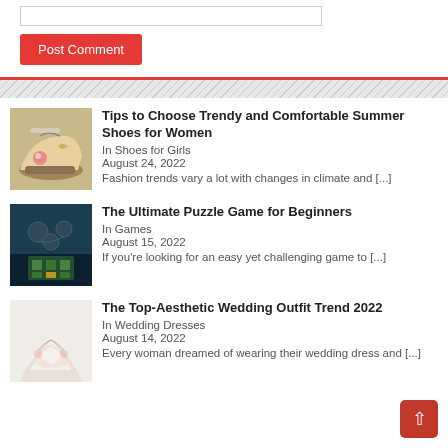[Figure (other): Input text field (comment box)]
[Figure (other): Post Comment red button]
Tips to Choose Trendy and Comfortable Summer Shoes for Women
In Shoes for Girls
August 24, 2022
Fashion trends vary a lot with changes in climate and [...]
The Ultimate Puzzle Game for Beginners
In Games
August 15, 2022
If you're looking for an easy yet challenging game to [...]
The Top-Aesthetic Wedding Outfit Trend 2022
In Wedding Dresses
August 14, 2022
Every woman dreamed of wearing their wedding dress and [...]